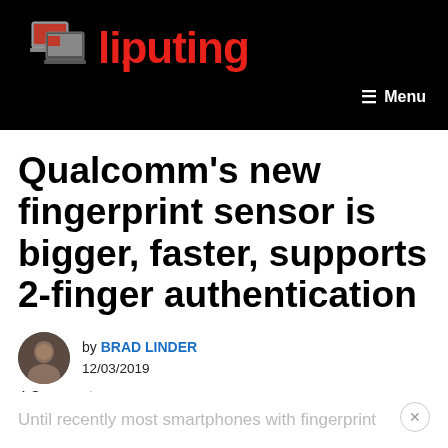Liliputing
Qualcomm’s new fingerprint sensor is bigger, faster, supports 2-finger authentication
by BRAD LINDER
12/03/2019
4 Comments
Until recently most smartphones with fingerprint